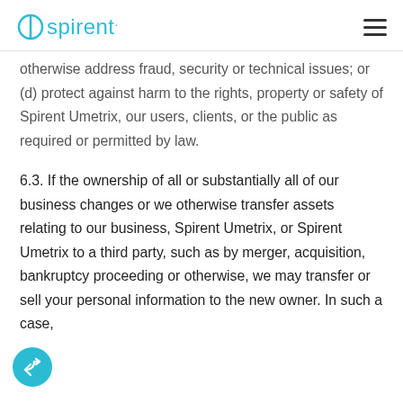Spirent
otherwise address fraud, security or technical issues; or (d) protect against harm to the rights, property or safety of Spirent Umetrix, our users, clients, or the public as required or permitted by law.
6.3. If the ownership of all or substantially all of our business changes or we otherwise transfer assets relating to our business, Spirent Umetrix, or Spirent Umetrix to a third party, such as by merger, acquisition, bankruptcy proceeding or otherwise, we may transfer or sell your personal information to the new owner. In such a case,